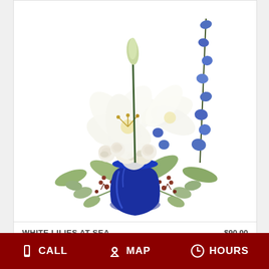[Figure (photo): Flower arrangement called 'White Lilies at Sea' — white lilies, blue delphiniums, white roses, and greenery in a cobalt blue vase on a white background]
WHITE LILIES AT SEA    $90.00
BUY NOW
[Figure (other): Info icon (dark circle with white letter i)]
CALL   MAP   HOURS